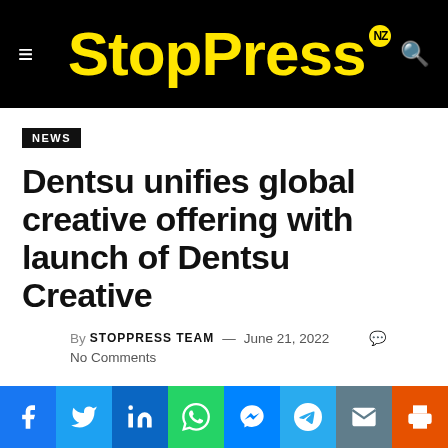StopPress NZ
NEWS
Dentsu unifies global creative offering with launch of Dentsu Creative
By STOPPRESS TEAM — June 21, 2022   No Comments
[Figure (other): Social sharing bar with Facebook, Twitter, LinkedIn, WhatsApp, Messenger, Telegram, Email, and Print buttons]